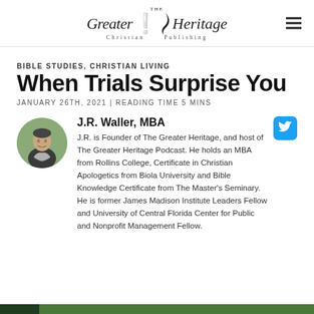The Greater Heritage Christian Publishing
BIBLE STUDIES, CHRISTIAN LIVING
When Trials Surprise You
JANUARY 26TH, 2021 | READING TIME 5 MINS
J.R. Waller, MBA
J.R. is Founder of The Greater Heritage, and host of The Greater Heritage Podcast. He holds an MBA from Rollins College, Certificate in Christian Apologetics from Biola University and Bible Knowledge Certificate from The Master's Seminary. He is former James Madison Institute Leaders Fellow and University of Central Florida Center for Public and Nonprofit Management Fellow.